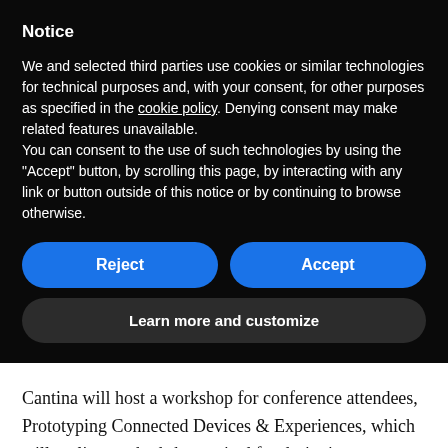Notice
We and selected third parties use cookies or similar technologies for technical purposes and, with your consent, for other purposes as specified in the cookie policy. Denying consent may make related features unavailable.
You can consent to the use of such technologies by using the “Accept” button, by scrolling this page, by interacting with any link or button outside of this notice or by continuing to browse otherwise.
Reject
Accept
Learn more and customize
Cantina will host a workshop for conference attendees, Prototyping Connected Devices & Experiences, which will outline methods best suited for designing connected health products, and creating